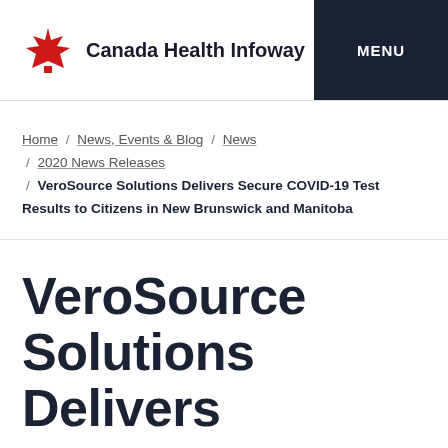Canada Health Infoway
Home / News, Events & Blog / News / 2020 News Releases / VeroSource Solutions Delivers Secure COVID-19 Test Results to Citizens in New Brunswick and Manitoba
VeroSource Solutions Delivers